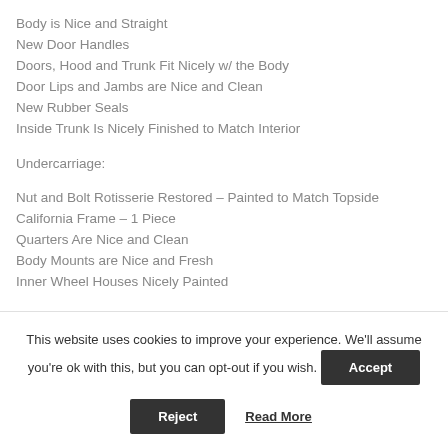Body is Nice and Straight
New Door Handles
Doors, Hood and Trunk Fit Nicely w/ the Body
Door Lips and Jambs are Nice and Clean
New Rubber Seals
Inside Trunk Is Nicely Finished to Match Interior
Undercarriage:
Nut and Bolt Rotisserie Restored – Painted to Match Topside
California Frame – 1 Piece
Quarters Are Nice and Clean
Body Mounts are Nice and Fresh
Inner Wheel Houses Nicely Painted
This website uses cookies to improve your experience. We'll assume you're ok with this, but you can opt-out if you wish.
Accept
Reject
Read More